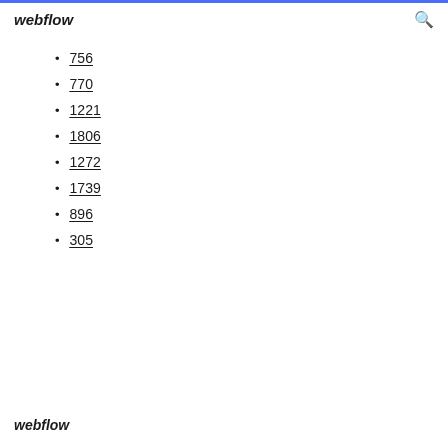webflow
756
770
1221
1806
1272
1739
896
305
webflow